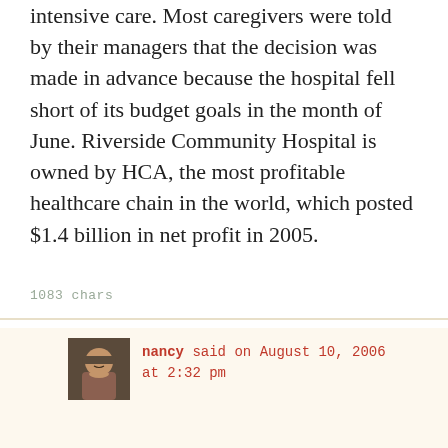intensive care. Most caregivers were told by their managers that the decision was made in advance because the hospital fell short of its budget goals in the month of June. Riverside Community Hospital is owned by HCA, the most profitable healthcare chain in the world, which posted $1.4 billion in net profit in 2005.
1083 chars
nancy said on August 10, 2006 at 2:32 pm
They also just took themselves private for something like $20 billion. They're going to be missing a lot of budget goals in the future, I think.